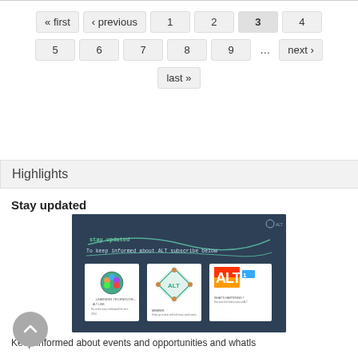« first  ‹ previous  1  2  3  4  5  6  7  8  9  …  next ›  last »
Highlights
Stay updated
[Figure (illustration): Dark teal banner image showing 'Stay updated - To keep informed about ALT subscribe below' with three newsletter/magazine cover thumbnails showing ALT (Association for Learning Technology) branding]
Keep informed about events and opportunities and whatls